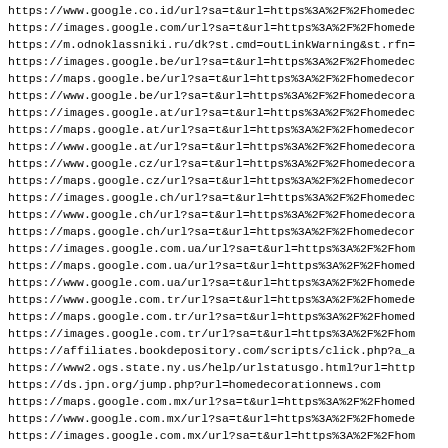https://www.google.co.id/url?sa=t&url=https%3A%2F%2Fhomedec
https://images.google.com/url?sa=t&url=https%3A%2F%2Fhomede
https://m.odnoklassniki.ru/dk?st.cmd=outLinkWarning&st.rfn=
https://images.google.be/url?sa=t&url=https%3A%2F%2Fhomedec
https://maps.google.be/url?sa=t&url=https%3A%2F%2Fhomedecor
https://www.google.be/url?sa=t&url=https%3A%2F%2Fhomedecora
https://images.google.at/url?sa=t&url=https%3A%2F%2Fhomedec
https://maps.google.at/url?sa=t&url=https%3A%2F%2Fhomedecor
https://www.google.at/url?sa=t&url=https%3A%2F%2Fhomedecora
https://www.google.cz/url?sa=t&url=https%3A%2F%2Fhomedecora
https://maps.google.cz/url?sa=t&url=https%3A%2F%2Fhomedecor
https://images.google.ch/url?sa=t&url=https%3A%2F%2Fhomedec
https://www.google.ch/url?sa=t&url=https%3A%2F%2Fhomedecora
https://maps.google.ch/url?sa=t&url=https%3A%2F%2Fhomedecor
https://images.google.com.ua/url?sa=t&url=https%3A%2F%2Fhom
https://maps.google.com.ua/url?sa=t&url=https%3A%2F%2Fhomed
https://www.google.com.ua/url?sa=t&url=https%3A%2F%2Fhomede
https://www.google.com.tr/url?sa=t&url=https%3A%2F%2Fhomede
https://maps.google.com.tr/url?sa=t&url=https%3A%2F%2Fhomed
https://images.google.com.tr/url?sa=t&url=https%3A%2F%2Fhom
https://affiliates.bookdepository.com/scripts/click.php?a_a
https://www2.ogs.state.ny.us/help/urlstatusgo.html?url=http
https://ds.jpn.org/jump.php?url=homedecorationnews.com
https://maps.google.com.mx/url?sa=t&url=https%3A%2F%2Fhomed
https://www.google.com.mx/url?sa=t&url=https%3A%2F%2Fhomede
https://images.google.com.mx/url?sa=t&url=https%3A%2F%2Fhom
https://www.google.dk/url?sa=t&url=https%3A%2F%2Fhomedecora
https://images.google.dk/url?sa=t&url=https%3A%2F%2Fhomedec
https://maps.google.dk/url?sa=t&url=https%3A%2F%2Fhomedecor